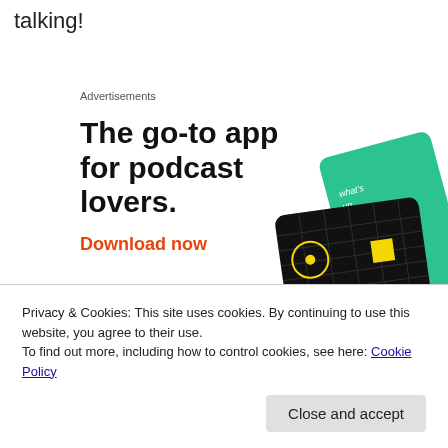talking!
Advertisements
[Figure (illustration): Advertisement for a podcast app showing the headline 'The go-to app for podcast lovers.' with a 'Download now' call-to-action link in orange-red, and an image of podcast app cards including a 99% Invisible card (black with yellow grid and text), a teal card, a blue card, and a red card.]
Privacy & Cookies: This site uses cookies. By continuing to use this website, you agree to their use.
To find out more, including how to control cookies, see here: Cookie Policy
Close and accept